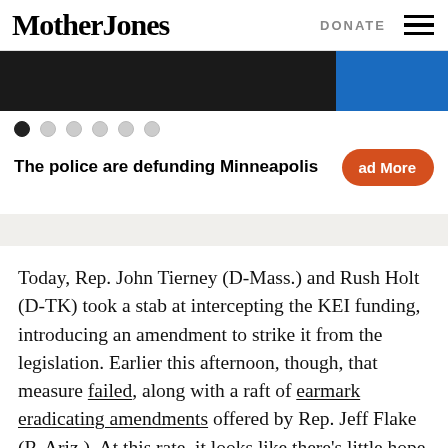Mother Jones   DONATE
[Figure (screenshot): Slider/carousel image showing a dark photo strip with a blue section on the right, with six navigation dots below it]
The police are defunding Minneapolis
Today, Rep. John Tierney (D-Mass.) and Rush Holt (D-TK) took a stab at intercepting the KEI funding, introducing an amendment to strike it from the legislation. Earlier this afternoon, though, that measure failed, along with a raft of earmark eradicating amendments offered by Rep. Jeff Flake (R-Ariz.). At this rate, it looks like there's little hope